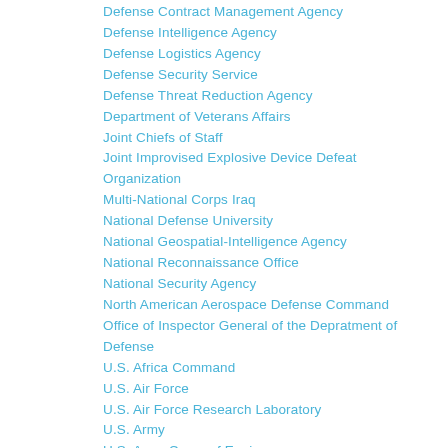Defense Contract Management Agency
Defense Intelligence Agency
Defense Logistics Agency
Defense Security Service
Defense Threat Reduction Agency
Department of Veterans Affairs
Joint Chiefs of Staff
Joint Improvised Explosive Device Defeat Organization
Multi-National Corps Iraq
National Defense University
National Geospatial-Intelligence Agency
National Reconnaissance Office
National Security Agency
North American Aerospace Defense Command
Office of Inspector General of the Depratment of Defense
U.S. Africa Command
U.S. Air Force
U.S. Air Force Research Laboratory
U.S. Army
U.S. Army Corps of Engineers
U.S. Army War College